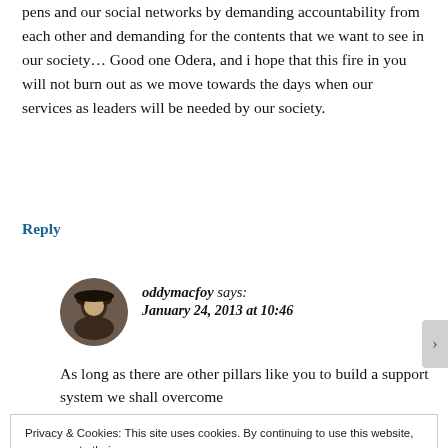pens and our social networks by demanding accountability from each other and demanding for the contents that we want to see in our society… Good one Odera, and i hope that this fire in you will not burn out as we move towards the days when our services as leaders will be needed by our society.
Reply
oddymacfoy says:
January 24, 2013 at 10:46
As long as there are other pillars like you to build a support system we shall overcome
Privacy & Cookies: This site uses cookies. By continuing to use this website, you agree to their use.
To find out more, including how to control cookies, see here: Cookie Policy
Close and accept